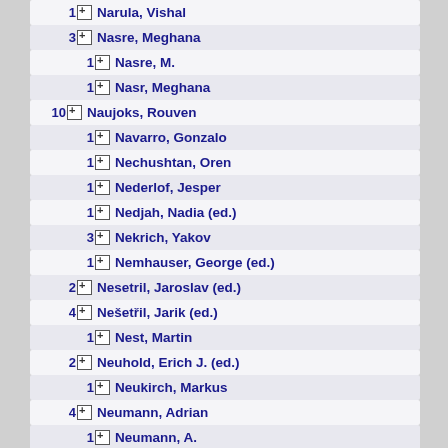1 Narula, Vishal
3 Nasre, Meghana
1 Nasre, M.
1 Nasr, Meghana
10 Naujoks, Rouven
1 Navarro, Gonzalo
1 Nechushtan, Oren
1 Nederlof, Jesper
1 Nedjah, Nadia (ed.)
3 Nekrich, Yakov
1 Nemhauser, George (ed.)
2 Nesetril, Jaroslav (ed.)
4 Nešetřil, Jarik (ed.)
1 Nest, Martin
2 Neuhold, Erich J. (ed.)
1 Neukirch, Markus
4 Neumann, Adrian
1 Neumann, A.
2 Neumann, Dirk
67 Neumann, Frank
2 Neumann, Frank (ed.)
1 Neumann, ...